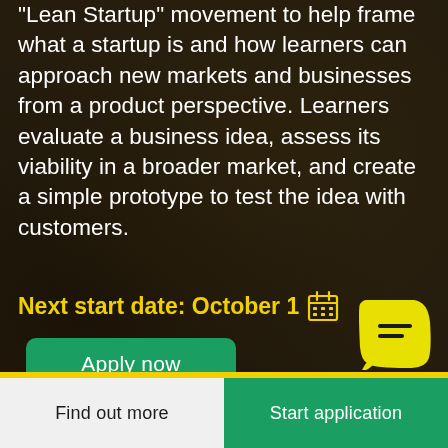“Lean Startup” movement to help frame what a startup is and how learners can approach new markets and businesses from a product perspective. Learners evaluate a business idea, assess its viability in a broader market, and create a simple prototype to test the idea with customers.
Next start date: October 1 📅
Apply now
[Figure (illustration): Yellow rounded chat bubble icon with a speech/message symbol inside]
Find out more
Start application